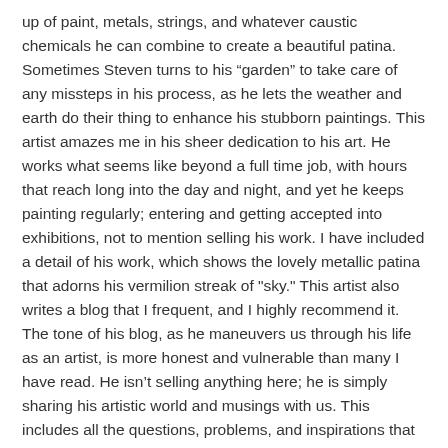up of paint, metals, strings, and whatever caustic chemicals he can combine to create a beautiful patina. Sometimes Steven turns to his “garden” to take care of any missteps in his process, as he lets the weather and earth do their thing to enhance his stubborn paintings. This artist amazes me in his sheer dedication to his art. He works what seems like beyond a full time job, with hours that reach long into the day and night, and yet he keeps painting regularly; entering and getting accepted into exhibitions, not to mention selling his work. I have included a detail of his work, which shows the lovely metallic patina that adorns his vermilion streak of “sky.” This artist also writes a blog that I frequent, and I highly recommend it. The tone of his blog, as he maneuvers us through his life as an artist, is more honest and vulnerable than many I have read. He isn’t selling anything here; he is simply sharing his artistic world and musings with us. This includes all the questions, problems, and inspirations that may pop up in this messy life and take form in his art. I take considerable comfort in his words, and I think you might as well. Go to his Blog, his carbonmade portfolio , and find even more of his work at the ok studios website.
Here are just six of the many amazing artists I know. Again, please give them your time and attention. These artists make me work harder, they fill me with wonder, and they make my world a more beautiful and